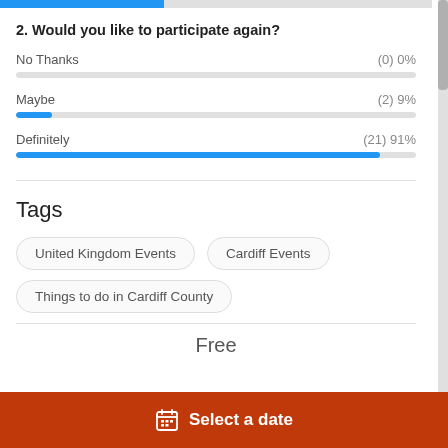[Figure (bar-chart): 2. Would you like to participate again?]
Tags
United Kingdom Events
Cardiff Events
Things to do in Cardiff County
Free
Select a date